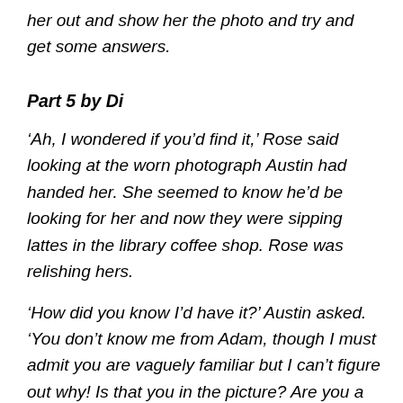her out and show her the photo and try and get some answers.
Part 5 by Di
‘Ah, I wondered if you’d find it,’ Rose said looking at the worn photograph Austin had handed her. She seemed to know he’d be looking for her and now they were sipping lattes in the library coffee shop. Rose was relishing hers.
‘How did you know I’d have it?’ Austin asked. ‘You don’t know me from Adam, though I must admit you are vaguely familiar but I can’t figure out why! Is that you in the picture? Are you a member of my family? How come you haven’t aged?’